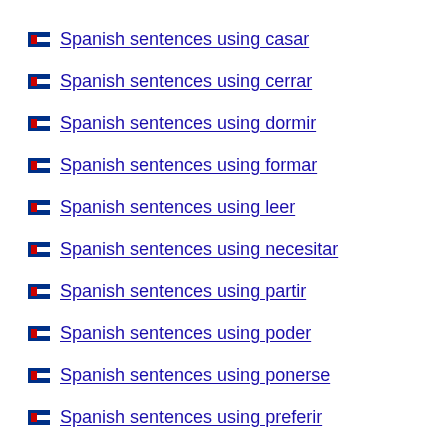Spanish sentences using casar
Spanish sentences using cerrar
Spanish sentences using dormir
Spanish sentences using formar
Spanish sentences using leer
Spanish sentences using necesitar
Spanish sentences using partir
Spanish sentences using poder
Spanish sentences using ponerse
Spanish sentences using preferir
Spanish sentences using recibir
Spanish sentences using ...